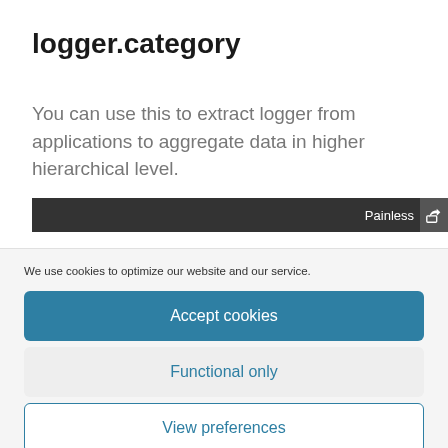logger.category
You can use this to extract logger from applications to aggregate data in higher hierarchical level.
[Figure (screenshot): Dark toolbar/code bar with 'Painless' label and a share icon on the right]
We use cookies to optimize our website and our service.
Accept cookies
Functional only
View preferences